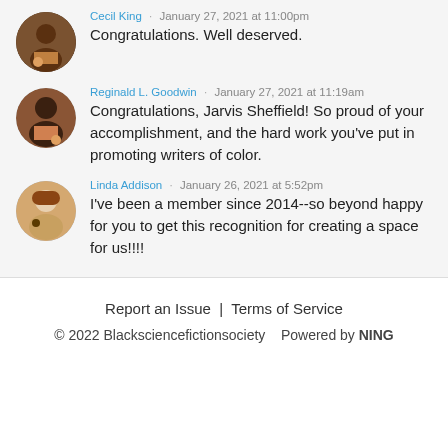Cecil King · January 27, 2021 at 11:00pm
Congratulations. Well deserved.
Reginald L. Goodwin · January 27, 2021 at 11:19am
Congratulations, Jarvis Sheffield! So proud of your accomplishment, and the hard work you've put in promoting writers of color.
Linda Addison · January 26, 2021 at 5:52pm
I've been a member since 2014--so beyond happy for you to get this recognition for creating a space for us!!!!
Report an Issue | Terms of Service
© 2022 Blacksciencefictionsociety   Powered by NING